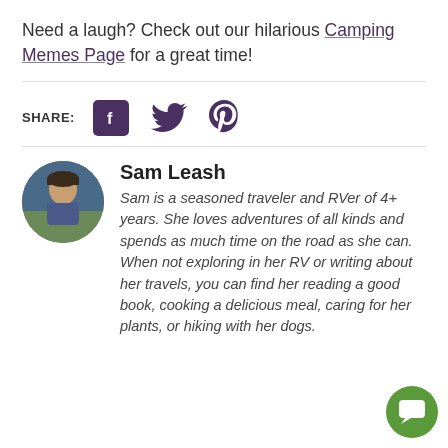Need a laugh? Check out our hilarious Camping Memes Page for a great time!
SHARE: [Facebook] [Twitter] [Pinterest]
Sam Leash
Sam is a seasoned traveler and RVer of 4+ years. She loves adventures of all kinds and spends as much time on the road as she can. When not exploring in her RV or writing about her travels, you can find her reading a good book, cooking a delicious meal, caring for her plants, or hiking with her dogs.